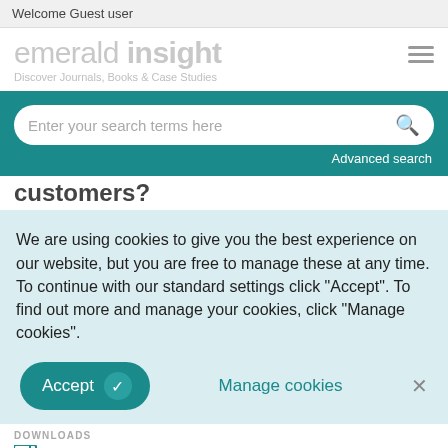Welcome Guest user
[Figure (logo): Emerald Insight logo with tagline: Discover Journals, Books & Case Studies]
[Figure (screenshot): Search bar with placeholder: Enter your search terms here, and Advanced search link]
customers?
We are using cookies to give you the best experience on our website, but you are free to manage these at any time. To continue with our standard settings click "Accept". To find out more and manage your cookies, click "Manage cookies".
Accept  Manage cookies  ×
DOWNLOADS